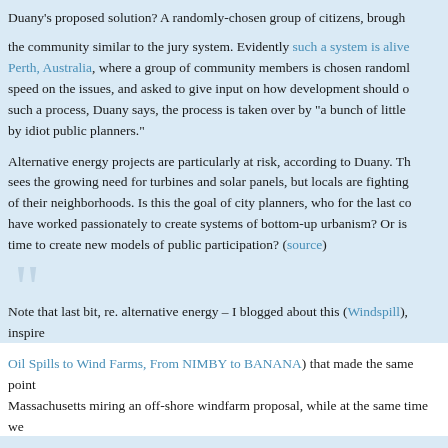Duany's proposed solution? A randomly-chosen group of citizens, brought into the community similar to the jury system. Evidently such a system is alive in Perth, Australia, where a group of community members is chosen randomly, brought up to speed on the issues, and asked to give input on how development should occur. Without such a process, Duany says, the process is taken over by "a bunch of little old ladies" and by idiot public planners."

Alternative energy projects are particularly at risk, according to Duany. The country sees the growing need for turbines and solar panels, but locals are fighting the placement of their neighborhoods. Is this the goal of city planners, who for the last couple decades have worked passionately to create systems of bottom-up urbanism? Or is it time to create new models of public participation? (source)
Note that last bit, re. alternative energy – I blogged about this (Windspill), inspired by Oil Spills to Wind Farms, From NIMBY to BANANA) that made the same point about Massachusetts miring an off-shore windfarm proposal, while at the same time we had an oil disaster in the Gulf of Mexico.

Two, from Building Blocks (St. Louis Today):